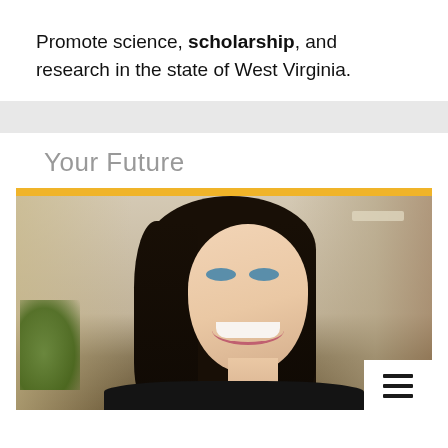Promote science, scholarship, and research in the state of West Virginia.
Your Future
[Figure (photo): Portrait photo of a smiling woman with dark shoulder-length hair, wearing a black jacket and gold necklace, photographed indoors with a warm background.]